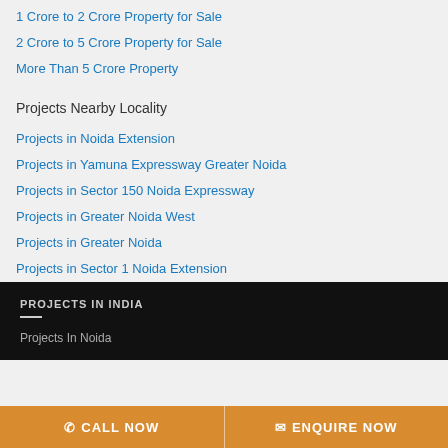1 Crore to 2 Crore Property for Sale
2 Crore to 5 Crore Property for Sale
More Than 5 Crore Property
Projects Nearby Locality
Projects in Noida Extension
Projects in Yamuna Expressway Greater Noida
Projects in Sector 150 Noida Expressway
Projects in Greater Noida West
Projects in Greater Noida
Projects in Sector 1 Noida Extension
PROJECTS IN INDIA
Projects In Noida
CALL NOW   ENQUIRE NOW